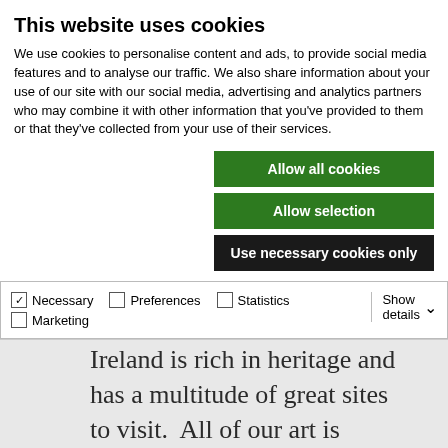This website uses cookies
We use cookies to personalise content and ads, to provide social media features and to analyse our traffic. We also share information about your use of our site with our social media, advertising and analytics partners who may combine it with other information that you’ve provided to them or that they’ve collected from your use of their services.
Allow all cookies
Allow selection
Use necessary cookies only
Necessary  Preferences  Statistics  Marketing  Show details
Our Historical Irish Sites
Ireland is rich in heritage and has a multitude of great sites to visit.  All of our art is inspired by the Rock Art at historical Irish sites. Below are some